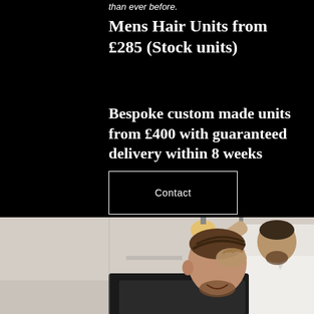than ever before.
Mens Hair Units from £285 (Stock units)
Bespoke custom made units from £400 with guaranteed delivery within 8 weeks
Contact
[Figure (photo): A man in a barber chair smiling, having his hair styled by a barber in a white t-shirt, in a salon setting with warm pendant lights in the background.]